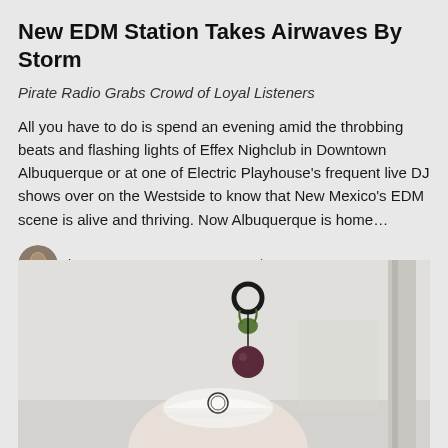New EDM Station Takes Airwaves By Storm
Pirate Radio Grabs Crowd of Loyal Listeners
All you have to do is spend an evening amid the throbbing beats and flashing lights of Effex Nighclub in Downtown Albuquerque or at one of Electric Playhouse's frequent live DJ shows over on the Westside to know that New Mexico's EDM scene is alive and thriving. Now Albuquerque is home…
by DEVIN D. O'LEARY   July 19, 2022
[Figure (photo): A person wearing a white cap with a circular logo, with decorative hanging plants and spherical ornaments visible in the background against a light wall.]